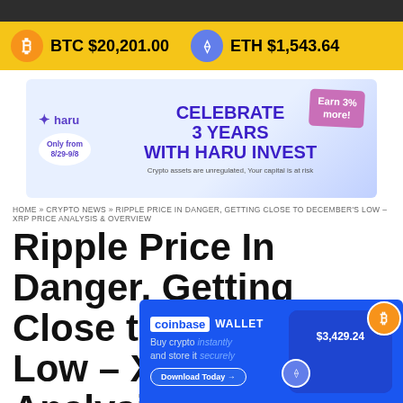cryptonews header bar
BTC $20,201.00   ETH $1,543.64
[Figure (screenshot): Haru Invest advertisement banner: CELEBRATE 3 YEARS WITH HARU INVEST. Only from 8/29-9/8. Earn 3% more! Crypto assets are unregulated, Your capital is at risk.]
HOME » CRYPTO NEWS » RIPPLE PRICE IN DANGER, GETTING CLOSE TO DECEMBER'S LOW – XRP PRICE ANALYSIS & OVERVIEW
Ripple Price In Danger, Getting Close to December's Low – XRP Price Analysis & Overview
[Figure (screenshot): Coinbase Wallet advertisement: Buy crypto instantly and store it securely. Download Today →. Shows $3,429.24 portfolio value with crypto coins.]